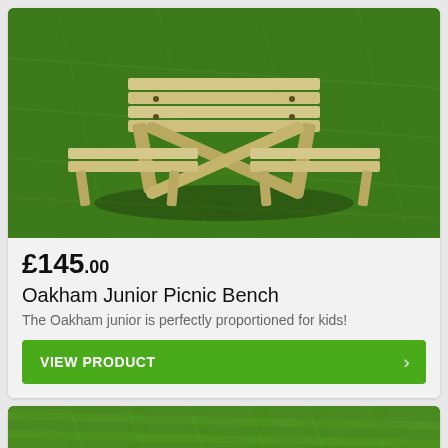[Figure (photo): Wooden picnic bench (Oakham Junior) photographed on green grass from above-side angle, showing light pine wood construction with attached benches on either side.]
£145.00
Oakham Junior Picnic Bench
The Oakham junior is perfectly proportioned for kids!
VIEW PRODUCT
[Figure (photo): Partial view of another product photo showing green grass background, bottom of page card.]